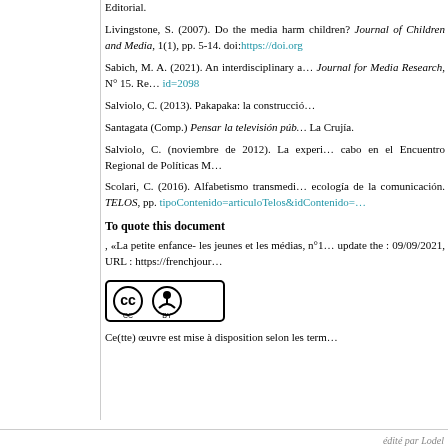Editorial.
Livingstone, S. (2007). Do the media harm children? Journal of Children and Media, 1(1), pp. 5-14. doi:https://doi.org/...
Sabich, M. A. (2021). An interdisciplinary approach... Journal for Media Research, N° 15. Retrieved from https://doi.org/...?id=2098
Salviolo, C. (2013). Pakapaka: la construcción...
Santagata (Comp.) Pensar la televisión púb... La Crujía.
Salviolo, C. (noviembre de 2012). La experi... cabo en el Encuentro Regional de Políticas M...
Scolari, C. (2016). Alfabetismo transmedi... ecología de la comunicación. TELOS, pp. ... tipoContenido=articuloTelos&idContenido=...
To quote this document
, «La petite enfance- les jeunes et les médias, n°1... update the : 09/09/2021, URL : https://frenchjour...
[Figure (logo): Creative Commons BY license badge]
Ce(tte) œuvre est mise à disposition selon les term...
édité par Lodel